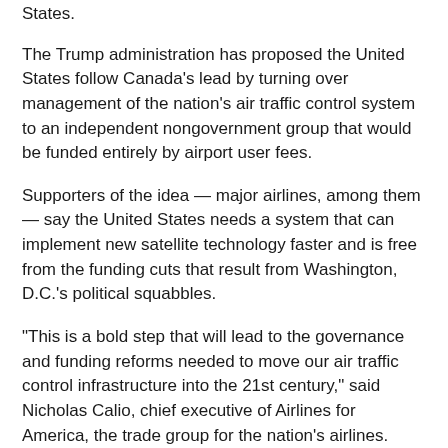States.
The Trump administration has proposed the United States follow Canada's lead by turning over management of the nation's air traffic control system to an independent nongovernment group that would be funded entirely by airport user fees.
Supporters of the idea — major airlines, among them — say the United States needs a system that can implement new satellite technology faster and is free from the funding cuts that result from Washington, D.C.'s political squabbles.
“This is a bold step that will lead to the governance and funding reforms needed to move our air traffic control infrastructure into the 21st century,” said Nicholas Calio, chief executive of Airlines for America, the trade group for the nation's airlines.
But overhauling the nation's air traffic control system won't be easy.